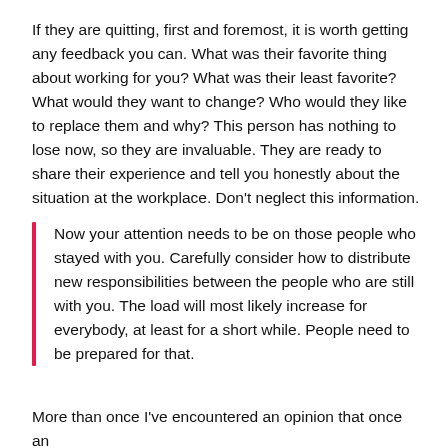If they are quitting, first and foremost, it is worth getting any feedback you can. What was their favorite thing about working for you? What was their least favorite? What would they want to change? Who would they like to replace them and why? This person has nothing to lose now, so they are invaluable. They are ready to share their experience and tell you honestly about the situation at the workplace. Don't neglect this information.
Now your attention needs to be on those people who stayed with you. Carefully consider how to distribute new responsibilities between the people who are still with you. The load will most likely increase for everybody, at least for a short while. People need to be prepared for that.
More than once I've encountered an opinion that once an